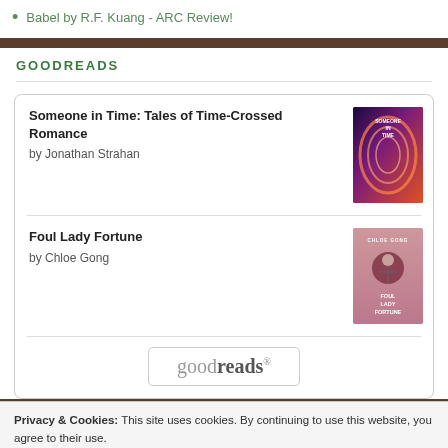Babel by R.F. Kuang - ARC Review!
GOODREADS
Someone in Time: Tales of Time-Crossed Romance by Jonathan Strahan
Foul Lady Fortune by Chloe Gong
[Figure (logo): Goodreads logo in a rounded rectangle box]
Privacy & Cookies: This site uses cookies. By continuing to use this website, you agree to their use. To find out more, including how to control cookies, see here: Cookie Policy
Close and accept